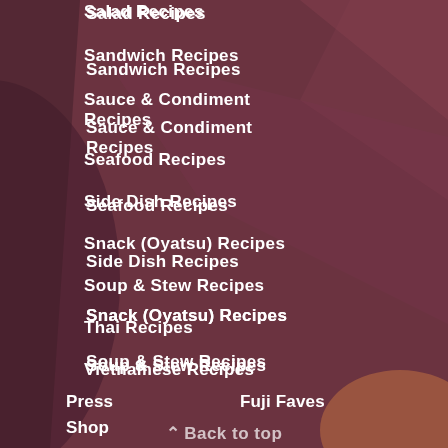Salad Recipes
Sandwich Recipes
Sauce & Condiment Recipes
Seafood Recipes
Side Dish Recipes
Snack (Oyatsu) Recipes
Soup & Stew Recipes
Thai Recipes
Vietnamese Recipes
Press
Fuji Faves
Shop
Back to top